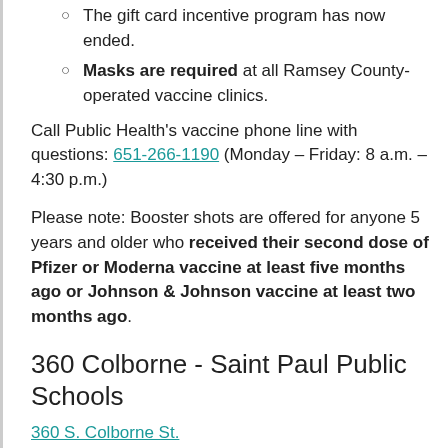The gift card incentive program has now ended.
Masks are required at all Ramsey County-operated vaccine clinics.
Call Public Health’s vaccine phone line with questions: 651-266-1190 (Monday – Friday: 8 a.m. – 4:30 p.m.)
Please note: Booster shots are offered for anyone 5 years and older who received their second dose of Pfizer or Moderna vaccine at least five months ago or Johnson & Johnson vaccine at least two months ago.
360 Colborne - Saint Paul Public Schools
360 S. Colborne St.
Saint Paul, MN 55102
Thursday appointments: